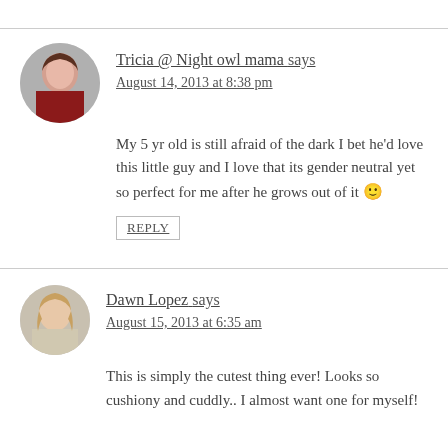Tricia @ Night owl mama says
August 14, 2013 at 8:38 pm
My 5 yr old is still afraid of the dark I bet he'd love this little guy and I love that its gender neutral yet so perfect for me after he grows out of it 🙂
REPLY
Dawn Lopez says
August 15, 2013 at 6:35 am
This is simply the cutest thing ever! Looks so cushiony and cuddly.. I almost want one for myself!